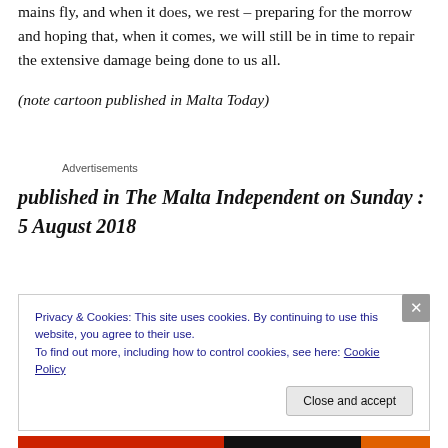mains fly, and when it does, we rest – preparing for the morrow and hoping that, when it comes, we will still be in time to repair the extensive damage being done to us all.
(note cartoon published in Malta Today)
Advertisements
published in The Malta Independent on Sunday : 5 August 2018
Privacy & Cookies: This site uses cookies. By continuing to use this website, you agree to their use.
To find out more, including how to control cookies, see here: Cookie Policy
Close and accept